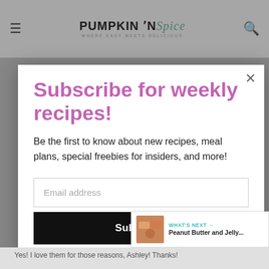PUMPKIN 'N Spice — WHERE EASY MEETS DELICIOUS
Subscribe for weekly recipes!
Be the first to know about new recipes, meal plans, special freebies for insiders, and more!
Email address
Subscribe
2.7K
WHAT'S NEXT → Peanut Butter and Jelly...
Yes! I love them for those reasons, Ashley! Thanks!